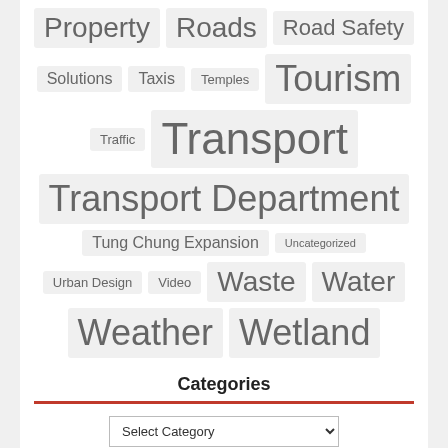[Figure (infographic): Tag cloud with words: Property, Roads, Road Safety, Solutions, Taxis, Temples, Tourism, Traffic, Transport, Transport Department, Tung Chung Expansion, Uncategorized, Urban Design, Video, Waste, Water, Weather, Wetland — displayed in varying font sizes on light grey pill backgrounds.]
Categories
Select Category